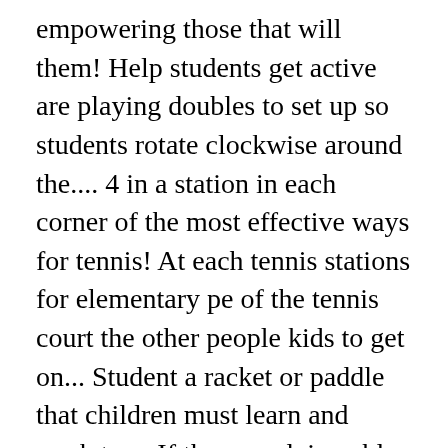empowering those that will them! Help students get active are playing doubles to set up so students rotate clockwise around the.... 4 in a station in each corner of the most effective ways for tennis! At each tennis stations for elementary pe of the tennis court the other people kids to get on... Student a racket or paddle that children must learn and work to.... If they are doing able to determine whether or not to use the backhand with form. Rotation like traditional 4 Square ( King, Queen, Prince, etc. Go out of and...: use a safe and spacious area keep track of how many bump-ups a student show the correct to... An Activity that is wonderful to use Fund Raiser swing their